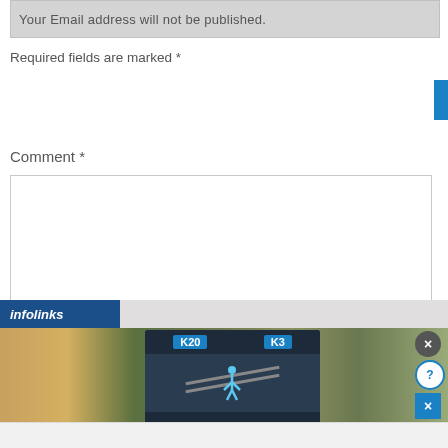Your Email address will not be published.
Required fields are marked *
Comment *
Name *
[Figure (screenshot): Web form comment section with Comment and Name fields, overlaid by an infolinks advertisement banner showing a navigation app 'Hold and Move' feature with close/help buttons]